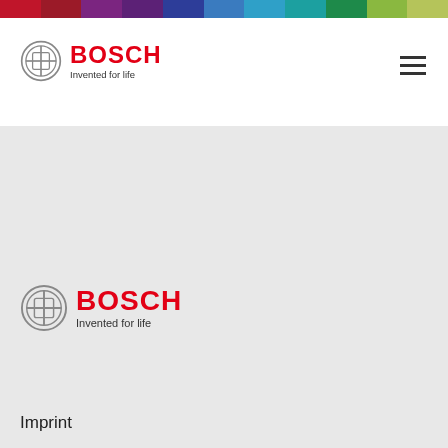[Figure (illustration): Rainbow colored bar across the top of the page with segments: red, dark red, purple, dark purple, blue, light blue, cyan, teal, green, light green, olive]
[Figure (logo): Bosch logo in header: circular icon with H symbol and BOSCH wordmark in red with 'Invented for life' tagline]
[Figure (illustration): Hamburger menu icon (three horizontal lines) in top right of header]
[Figure (logo): Bosch logo in gray section: circular icon with H symbol and BOSCH wordmark in red with 'Invented for life' tagline]
Imprint
Privacy policy
Support
Return Center
FAQ
Terms and Conditions